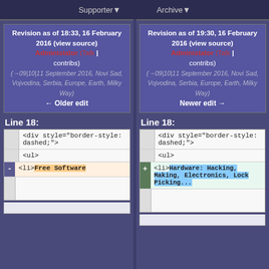Supporter▾   Archive▾
Revision as of 18:33, 16 February 2016 (view source)
Administator (Talk | contribs)
(→09|10|11 September 2016, Novi Sad, Vojvodina, Serbia, Europe, Earth, Milky Way)
← Older edit
Revision as of 19:30, 16 February 2016 (view source)
Administator (Talk | contribs)
(→09|10|11 September 2016, Novi Sad, Vojvodina, Serbia, Europe, Earth, Milky Way)
Newer edit →
Line 18:
Line 18:
<div style="border-style: dashed;">
<div style="border-style: dashed;">
<ul>
<ul>
<li>Free Software
<li>Hardware: Hacking, Making, Electronics, Lock Picking...